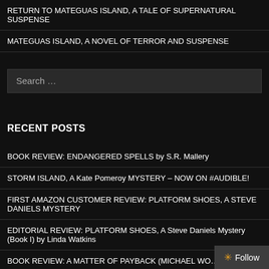RETURN TO MATEGUAS ISLAND, A TALE OF SUPERNATURAL SUSPENSE
MATEGUAS ISLAND, A NOVEL OF TERROR AND SUSPENSE
[Figure (other): Search input box with placeholder text 'Search ...']
RECENT POSTS
BOOK REVIEW: ENDANGERED SPELLS by S.R. Mallery
STORM ISLAND, A Kate Pomeroy MYSTERY – NOW ON #AUDIBLE!
FIRST AMAZON CUSTOMER REVIEW: PLATFORM SHOES, A STEVE DANIELS MYSTERY
EDITORIAL REVIEW: PLATFORM SHOES, A Steve Daniels Mystery (Book I) by Linda Watkins
BOOK REVIEW: A MATTER OF PAYBACK (MICHAEL WO... Book I) by Linda Watkins